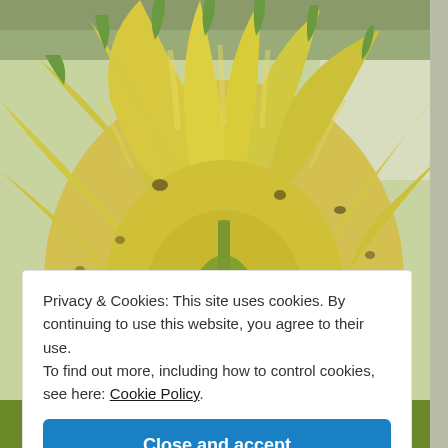[Figure (photo): A bunch of yellow-green bananas photographed from above, filling the entire page background.]
Privacy & Cookies: This site uses cookies. By continuing to use this website, you agree to their use. To find out more, including how to control cookies, see here: Cookie Policy.
Close and accept